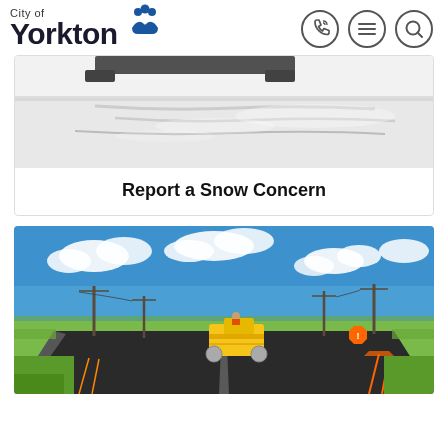City of Yorkton
[Figure (photo): Snowy road with vehicle tire marks and partially visible truck at top]
Report a Snow Concern
[Figure (photo): Road construction scene with yellow asphalt roller on freshly paved road under blue sky with clouds and utility poles]